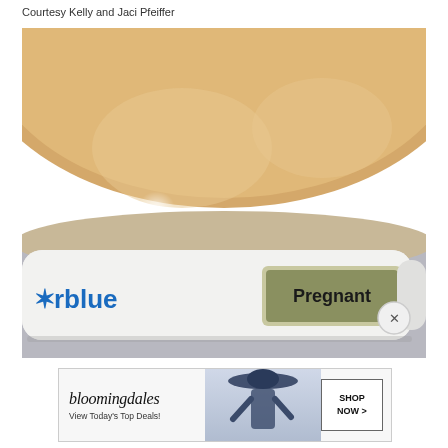Courtesy Kelly and Jaci Pfeiffer
[Figure (photo): Close-up photo of a Clearblue digital pregnancy test resting on what appears to be a pregnant belly. The test display reads 'Pregnant'. The Clearblue logo is visible on the left side of the test. A small X button overlay appears in the bottom right corner of the photo.]
[Figure (other): Bloomingdale's advertisement banner. Shows the Bloomingdale's logo in stylized italic text, subtext 'View Today's Top Deals!', an image of a woman in a hat, and a 'SHOP NOW >' button on the right.]